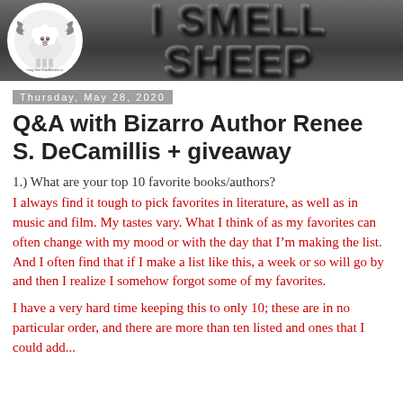[Figure (logo): I Smell Sheep blog header banner with sheep mascot logo on left and large metallic text 'I SMELL SHEEP' on dark grey background]
Thursday, May 28, 2020
Q&A with Bizarro Author Renee S. DeCamillis + giveaway
1.) What are your top 10 favorite books/authors?
I always find it tough to pick favorites in literature, as well as in music and film. My tastes vary. What I think of as my favorites can often change with my mood or with the day that I'm making the list. And I often find that if I make a list like this, a week or so will go by and then I realize I somehow forgot some of my favorites.
I have a very hard time keeping this to only 10; these are in no particular order, and there are more than ten listed and ones that I could add...